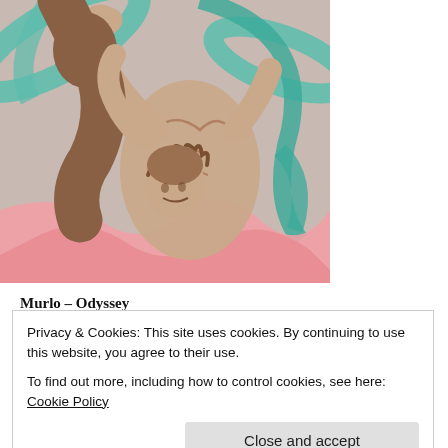[Figure (illustration): A classical-style painting depicting muscular figures intertwined, with teal/green ribbon-like swirls in the background and pink drapery at the bottom. The central figure has curly hair and is shown in a dramatic pose.]
Murlo – Odyssey
Privacy & Cookies: This site uses cookies. By continuing to use this website, you agree to their use.
To find out more, including how to control cookies, see here: Cookie Policy
Close and accept
Listen On YouTube